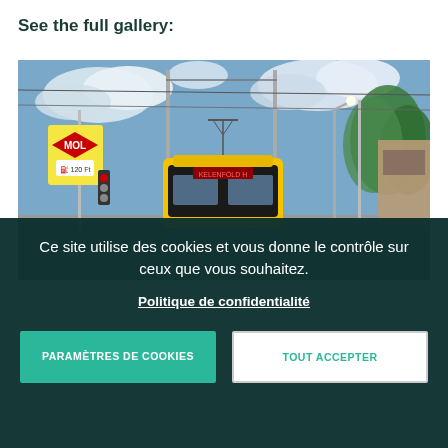See the full gallery:
[Figure (photo): A yellow tram on city tracks with overhead wires, green trees, street signs including a MOL fuel station sign, and a partly cloudy blue sky in the background.]
Ce site utilise des cookies et vous donne le contrôle sur ceux que vous souhaitez.
Politique de confidentialité
PARAMÈTRES DE COOKIES
TOUT ACCEPTER